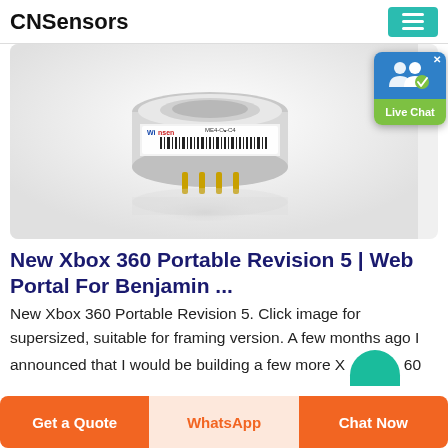CNSensors
[Figure (photo): A cylindrical electrochemical gas sensor (ME4-O2-C4 model by Winsen) with a metallic top, barcode label, and gold pins at the bottom, photographed on a white/light gray reflective surface.]
[Figure (screenshot): Live Chat widget button with a blue background showing two person icons with a green checkmark, and a green label area reading 'Live Chat'.]
New Xbox 360 Portable Revision 5 | Web Portal For Benjamin ...
New Xbox 360 Portable Revision 5. Click image for supersized, suitable for framing version. A few months ago I announced that I would be building a few more X 60